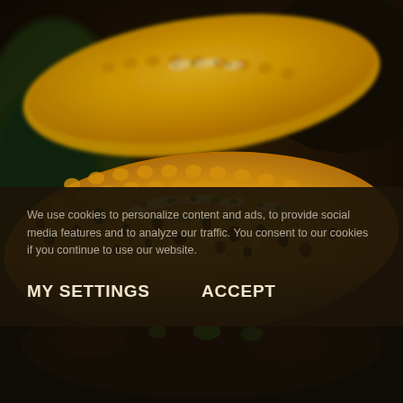[Figure (photo): Close-up photo of grilled corn on the cob with char marks, herbs (cilantro/parsley), and cream/butter topping, dark blurred background]
We use cookies to personalize content and ads, to provide social media features and to analyze our traffic. You consent to our cookies if you continue to use our website.
MY SETTINGS
ACCEPT